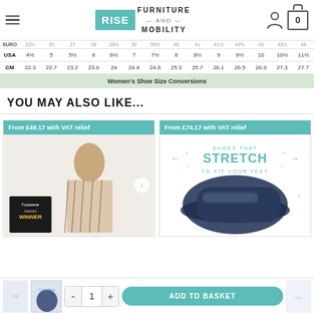RISE Furniture and Mobility
|  | 6 | 6½ | 7 | 7½ | 8 | 8½ | 9 | 9½ | 10 | 10½ | 11 | 11½ | 12 |
| --- | --- | --- | --- | --- | --- | --- | --- | --- | --- | --- | --- | --- | --- |
| EURO | 22½ | 35 | 37 | 38 | 38½ | 39 | 39½ | 40 | 41 | 41½ | 42½ | 43 | 43½ | 44 |
| USA | 4½ | 5 | 5½ | 6 | 6½ | 7 | 7½ | 8 | 8½ | 9 | 9½ | 10 | 10½ | 11½ |
| CM | 22.3 | 22.7 | 23.2 | 23.6 | 24 | 24.4 | 24.8 | 25.3 | 25.7 | 26.1 | 26.5 | 26.9 | 27.3 | 27.7 | 28.2 |
Women's Shoe Size Conversions
YOU MAY ALSO LIKE...
[Figure (photo): Product card showing From £49.17 with VAT relief, woman in patterned dress with Footwear Winner award badge]
[Figure (photo): Product card showing From £74.17 with VAT relief, navy stretch shoe with Shoes That Stretch To Fit Your Feet logo]
ADD TO BASKET - 1 quantity control